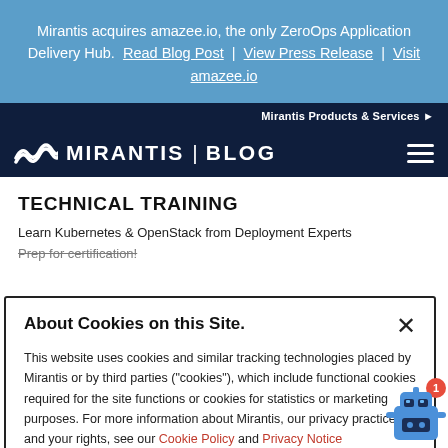Mirantis acquires amazee.io, the only ZeroOps Application Delivery Hub. Read Blog Post | View Press Release | Visit amazee.io
Mirantis Products & Services ▶
MIRANTIS | BLOG
TECHNICAL TRAINING
Learn Kubernetes & OpenStack from Deployment Experts
Prep for certification!
About Cookies on this Site.
This website uses cookies and similar tracking technologies placed by Mirantis or by third parties ("cookies"), which include functional cookies required for the site functions or cookies for statistics or marketing purposes. For more information about Mirantis, our privacy practices and your rights, see our Cookie Policy and Privacy Notice